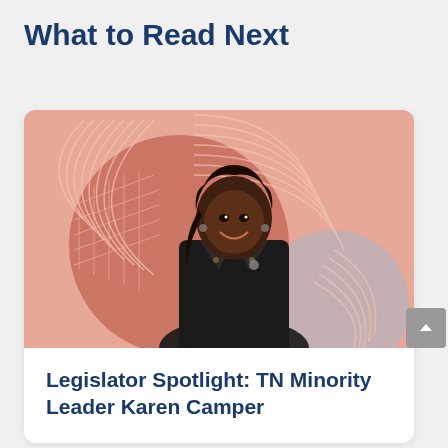What to Read Next
[Figure (photo): A smiling Black woman in a dark blazer and beaded necklace, photographed in black-and-white, standing against a stylized salmon/coral pink background with abstract concentric circle line art and a large terracotta-colored circle shape.]
Legislator Spotlight: TN Minority Leader Karen Camper